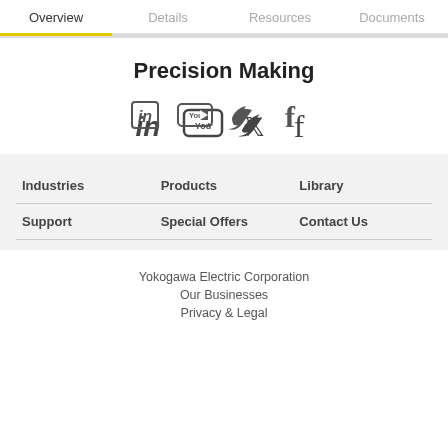Overview | Details | Resources | Documents
Precision Making
[Figure (infographic): Social media icons: LinkedIn, YouTube, Twitter, Facebook]
Industries
Products
Library
Support
Special Offers
Contact Us
Yokogawa Electric Corporation
Our Businesses
Privacy & Legal